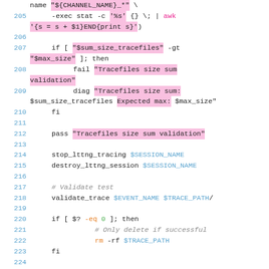[Figure (screenshot): Code snippet showing shell script lines 205-223 with syntax highlighting. Lines include find/stat/awk pipeline, size validation with fail/diag/pass messages, lttng tracing commands, validate_trace call, and conditional file deletion.]